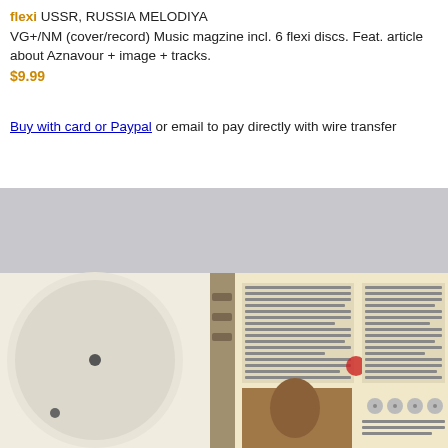flexi USSR, RUSSIA MELODIYA
VG+/NM (cover/record) Music magzine incl. 6 flexi discs. Feat. article about Aznavour + image + tracks.
$9.99
Buy with card or Paypal or email to pay directly with wire transfer
[Figure (photo): Photo of an open music magazine showing a flexi disc on the left page and text/image content on the right page, including what appears to be a portrait photo and text columns in Russian.]